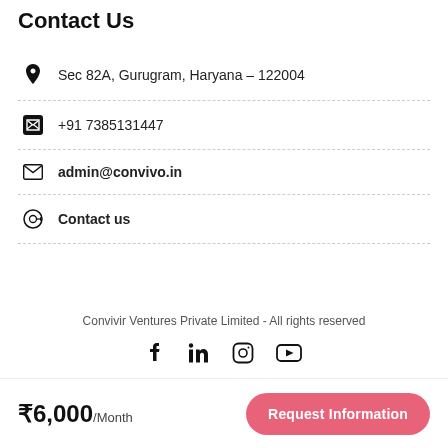Contact Us
Sec 82A, Gurugram, Haryana – 122004
+91 7385131447
admin@convivo.in
Contact us
Convivir Ventures Private Limited - All rights reserved
₹6,000/Month
Request Information